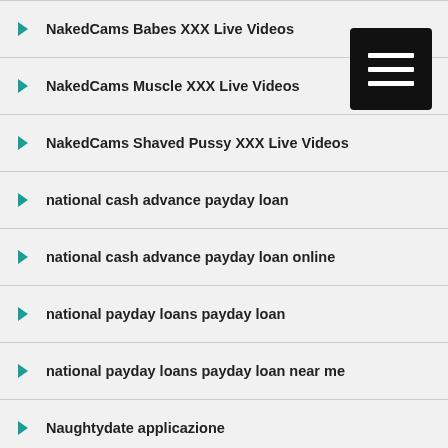NakedCams Babes XXX Live Videos
NakedCams Muscle XXX Live Videos
NakedCams Shaved Pussy XXX Live Videos
national cash advance payday loan
national cash advance payday loan online
national payday loans payday loan
national payday loans payday loan near me
Naughtydate applicazione
Nebraska Payday Loan Near Me
Nebraska Payday Loan Online
neupartnersuche.de Einloggen